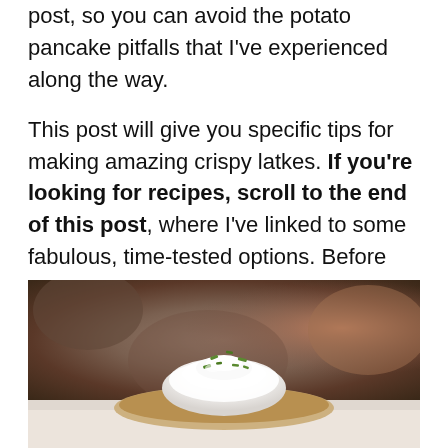post, so you can avoid the potato pancake pitfalls that I've experienced along the way.
This post will give you specific tips for making amazing crispy latkes. If you're looking for recipes, scroll to the end of this post, where I've linked to some fabulous, time-tested options. Before we dive in, here are a few facts about latkes.
[Figure (photo): Close-up photo of a latke topped with white cream/sour cream and chopped green chives, on a blurred warm brown background. The bottom of the image shows a light beige/cream colored surface.]